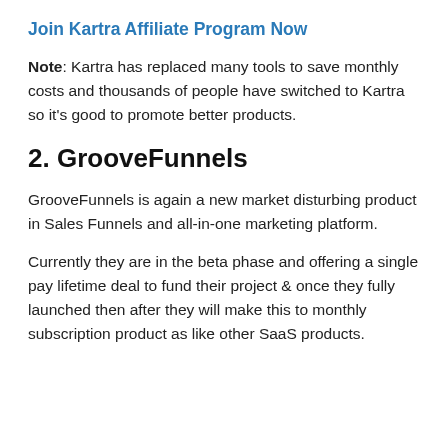Join Kartra Affiliate Program Now
Note: Kartra has replaced many tools to save monthly costs and thousands of people have switched to Kartra so it's good to promote better products.
2. GrooveFunnels
GrooveFunnels is again a new market disturbing product in Sales Funnels and all-in-one marketing platform.
Currently they are in the beta phase and offering a single pay lifetime deal to fund their project & once they fully launched then after they will make this to monthly subscription product as like other SaaS products.